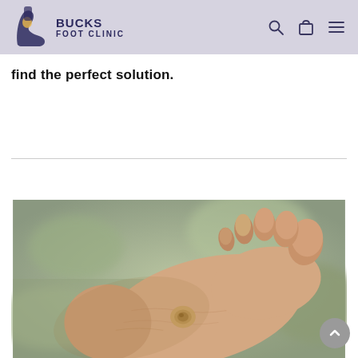Bucks Foot Clinic
find the perfect solution.
[Figure (photo): Close-up photograph of the bottom of a human foot showing toes curled and a corn/callus visible on the ball of the foot, against a blurred outdoor background.]